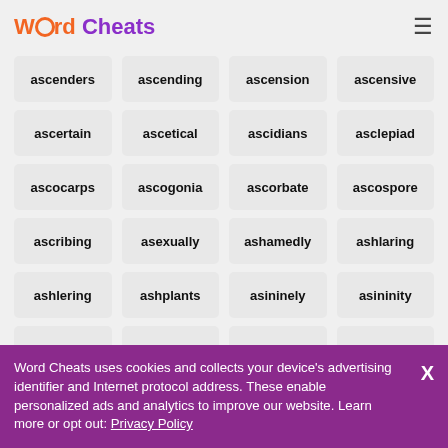Word Cheats
ascenders
ascending
ascension
ascensive
ascertain
ascetical
ascidians
asclepiad
ascocarps
ascogonia
ascorbate
ascospore
ascribing
asexually
ashamedly
ashlaring
ashlering
ashplants
asininely
asininity
askewness
asparagus
aspartame
aspartate
Word Cheats uses cookies and collects your device's advertising identifier and Internet protocol address. These enable personalized ads and analytics to improve our website. Learn more or opt out: Privacy Policy